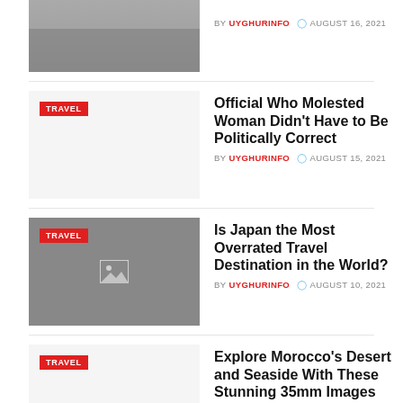[Figure (photo): Partial top image showing people sitting on benches, cropped at top]
BY UYGHURINFO  AUGUST 16, 2021
[Figure (photo): White/light gray thumbnail with TRAVEL tag]
Official Who Molested Woman Didn't Have to Be Politically Correct
BY UYGHURINFO  AUGUST 15, 2021
[Figure (photo): Gray placeholder image with image icon and TRAVEL tag]
Is Japan the Most Overrated Travel Destination in the World?
BY UYGHURINFO  AUGUST 10, 2021
[Figure (photo): White/light gray thumbnail with TRAVEL tag]
Explore Morocco's Desert and Seaside With These Stunning 35mm Images
BY UYGHURINFO  AUGUST 9, 2021